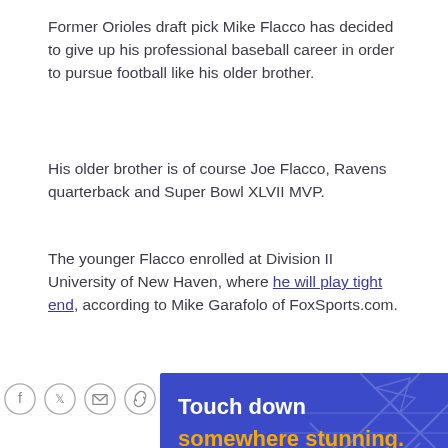Former Orioles draft pick Mike Flacco has decided to give up his professional baseball career in order to pursue football like his older brother.
His older brother is of course Joe Flacco, Ravens quarterback and Super Bowl XLVII MVP.
The younger Flacco enrolled at Division II University of New Haven, where he will play tight end, according to Mike Garafolo of FoxSports.com.
[Figure (infographic): Blue advertisement banner reading 'Touch down somewhere stunning. Nonstops to Montego Bay are here.' with football field diagram overlay]
[Figure (infographic): Social sharing icons: Facebook, Twitter, email, and link icons in circles]